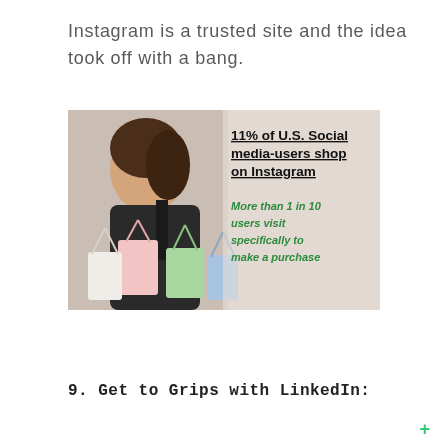Instagram is a trusted site and the idea took off with a bang.
[Figure (infographic): Infographic with a photo of a woman carrying shopping bags on the left side, and text on the right side reading: '11% of U.S. Social media-users shop on Instagram' in bold black underlined text, and below in green bold italic text: 'More than 1 in 10 users visit specifically to make a purchase']
9. Get to Grips with LinkedIn: